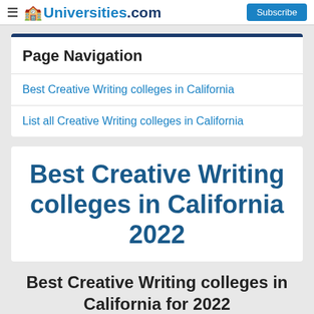Universities.com | Subscribe
Page Navigation
Best Creative Writing colleges in California
List all Creative Writing colleges in California
Best Creative Writing colleges in California 2022
Best Creative Writing colleges in California for 2022
1. University of Southern California